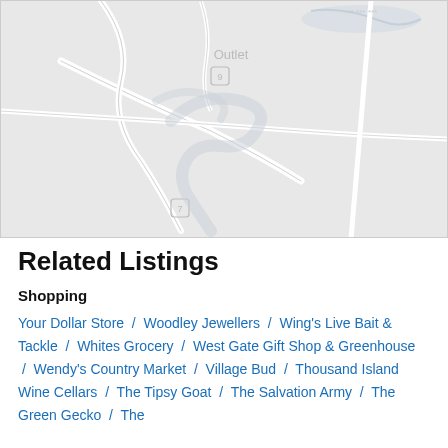[Figure (map): A light grey street/road map showing roads, a waterway, and small map markers. Text visible includes 'Outlet' and road numbers in small boxes.]
Related Listings
Shopping
Your Dollar Store  /  Woodley Jewellers  /  Wing's Live Bait & Tackle  /  Whites Grocery  /  West Gate Gift Shop & Greenhouse  /  Wendy's Country Market  /  Village Bud  /  Thousand Island Wine Cellars  /  The Tipsy Goat  /  The Salvation Army  /  The Green Gecko  /  The